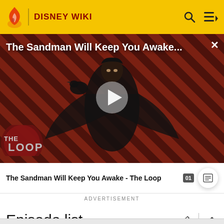DISNEY WIKI
[Figure (screenshot): Video thumbnail for 'The Sandman Will Keep You Awake - The Loop' on Disney Wiki, showing a figure in a black cape against a red and black striped background, with a play button overlay and 'THE LOOP' badge at the bottom left.]
The Sandman Will Keep You Awake - The Loop
ADVERTISEMENT
Episode list